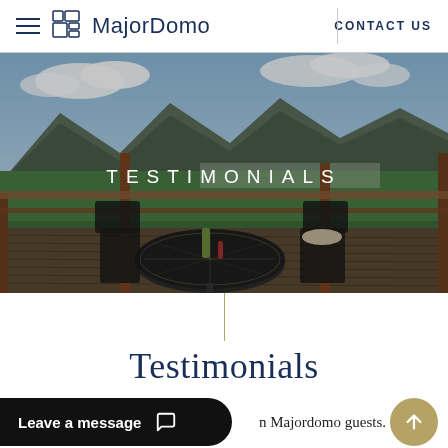MajorDomo   CONTACT US
[Figure (photo): A scenic outdoor deck with a mosaic table and black chairs overlooking a lake and mountains with the word TESTIMONIALS overlaid in white uppercase letters]
Testimonials
Leave a message
n Majordomo guests.